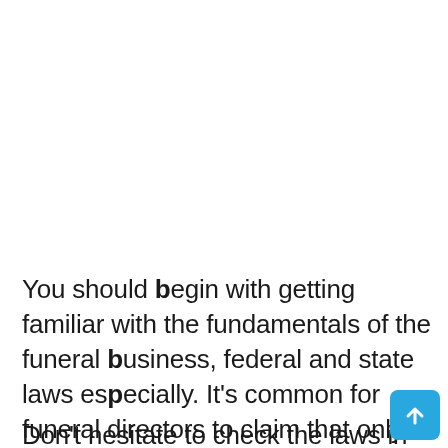You should begin with getting familiar with the fundamentals of the funeral business, federal and state laws especially. It's common for funeral directors to claim that only the licensed professionals can sell caskets,  and some states require the restriction.
Don't hesitate to check the laws in the state for the